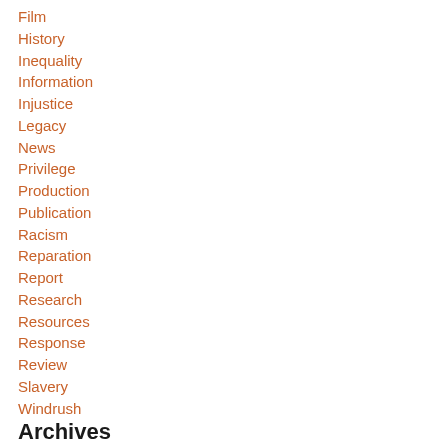Film
History
Inequality
Information
Injustice
Legacy
News
Privilege
Production
Publication
Racism
Reparation
Report
Research
Resources
Response
Review
Slavery
Windrush
Archives